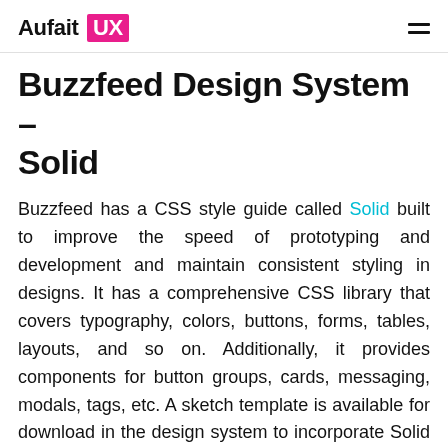Aufait UX
Buzzfeed Design System – Solid
Buzzfeed has a CSS style guide called Solid built to improve the speed of prototyping and development and maintain consistent styling in designs. It has a comprehensive CSS library that covers typography, colors, buttons, forms, tables, layouts, and so on. Additionally, it provides components for button groups, cards, messaging, modals, tags, etc. A sketch template is available for download in the design system to incorporate Solid styles into your mockups.